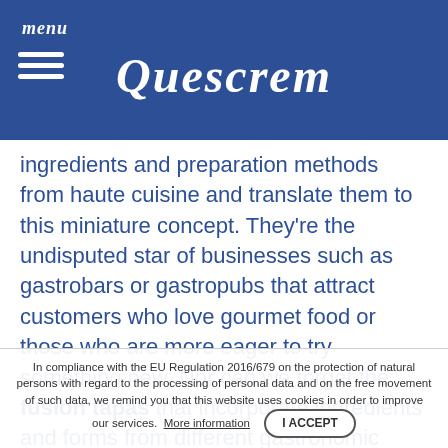menu | Quescrem
ingredients and preparation methods from haute cuisine and translate them to this miniature concept. They're the undisputed star of businesses such as gastrobars or gastropubs that attract customers who love gourmet food or those who are more eager to try something new. Nor can we forget the fusion tapas that incorporate ingredients and forms from different gastronomic cultures (Peruvian-Japanese or Mexican-Chinese fusion), which are very popular with younger hospitality customers.
Depending on the origin of the ingredients. Here we can find tapas made mainly with local produce, organic ingredients or simply with healthy ingredients regardless of their origin. Tapas made with these types of ingredients are typical of the slow food movement